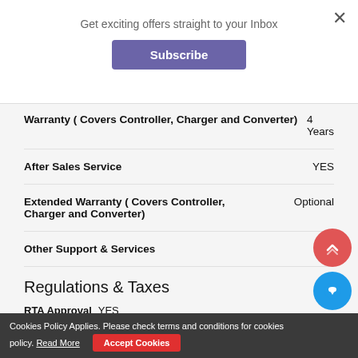Get exciting offers straight to your Inbox
Subscribe
| Feature | Value |
| --- | --- |
| Warranty ( Covers Controller, Charger and Converter) | 4 Years |
| After Sales Service | YES |
| Extended Warranty ( Covers Controller, Charger and Converter) | Optional |
| Other Support & Services | N/A |
Regulations & Taxes
RTA Approval    YES
Insurance Required    YES
Cookies Policy Applies. Please check terms and conditions for cookies policy. Read More
Accept Cookies